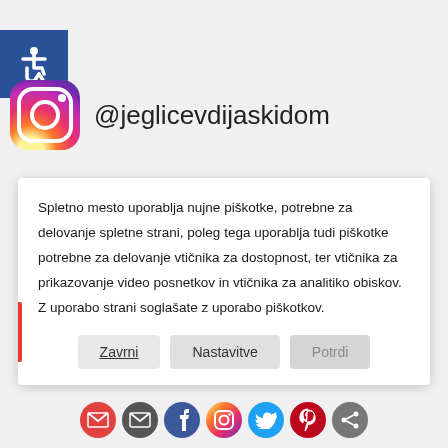[Figure (logo): Blue accessibility icon with wheelchair symbol]
[Figure (logo): Instagram logo (colorful gradient camera icon)]
@jeglicevdijaskidom
Spletno mesto uporablja nujne piškotke, potrebne za delovanje spletne strani, poleg tega uporablja tudi piškotke potrebne za delovanje vtičnika za dostopnost, ter vtičnika za prikazovanje video posnetkov in vtičnika za analitiko obiskov. Z uporabo strani soglašate z uporabo piškotkov.
Zavrni   Nastavitve   Potrdi
[Figure (infographic): Row of social sharing icons: Gmail, Email, Facebook, Instagram, Twitter, Pinterest, Share]